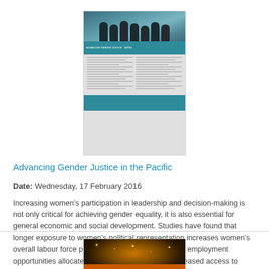[Figure (photo): Thumbnail image of a document titled 'Advancing Gender Justice in the Pacific' showing a group photo at top and two-column text layout with teal banner]
Advancing Gender Justice in the Pacific
Date: Wednesday, 17 February 2016
Increasing women’s participation in leadership and decision-making is not only critical for achieving gender equality, it is also essential for general economic and social development. Studies have found that longer exposure to women’s political representation increases women’s overall labour force participation, the share of public employment opportunities allocated to women and women’s increased access to public goods such as roads and health services. The Pacific...
[Figure (photo): Thumbnail image of a second document with dark background showing lights/fireworks and an orange banner]